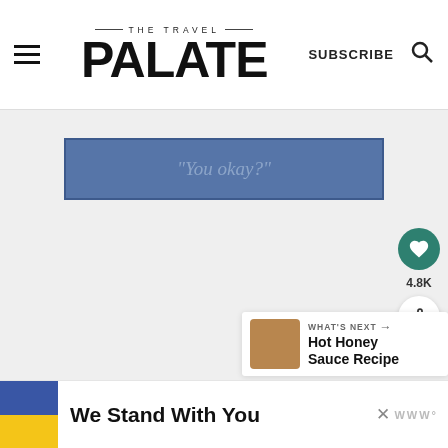THE TRAVEL PALATE | SUBSCRIBE
[Figure (screenshot): Blue banner with italic text reading “You okay?”]
[Figure (infographic): Social interaction buttons: heart/like button with 4.8K count and share button]
[Figure (infographic): What's Next callout with thumbnail image labeled Hot Honey Sauce Recipe]
[Figure (infographic): Advertisement banner with Ukrainian flag and text We Stand With You]